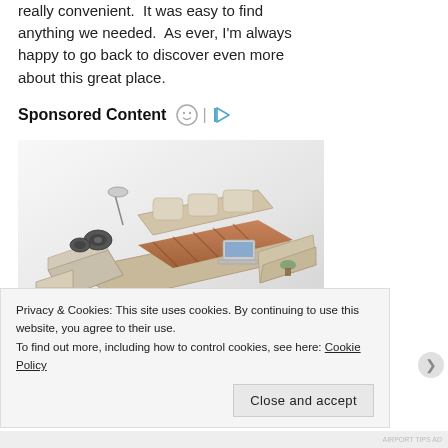really convenient. It was easy to find anything we needed. As ever, I'm always happy to go back to discover even more about this great place.
Sponsored Content
[Figure (photo): Advertisement image showing a luxury multifunctional bed with storage drawers, attached speakers, side tables, and reclining components, displayed against a light grey gradient background. Navigation arrows are overlaid at the bottom.]
Privacy & Cookies: This site uses cookies. By continuing to use this website, you agree to their use.
To find out more, including how to control cookies, see here: Cookie Policy
Close and accept